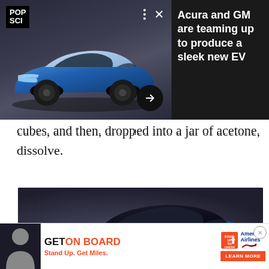[Figure (screenshot): Pop Science notification card showing a blue Acura concept EV SUV on dark background with POP SCI logo, close button, dots menu, and forward arrow. Headline reads: Acura and GM are teaming up to produce a sleek new EV]
cubes, and then, dropped into a jar of acetone, dissolve.
[Figure (photo): Blue Acura concept EV SUV on dark gradient studio background, front three-quarter view]
[Figure (screenshot): Advertisement: GET ON BOARD Stand Up. Get Miles. with Stand Up To Cancer and American Airlines logos and LEARN MORE button]